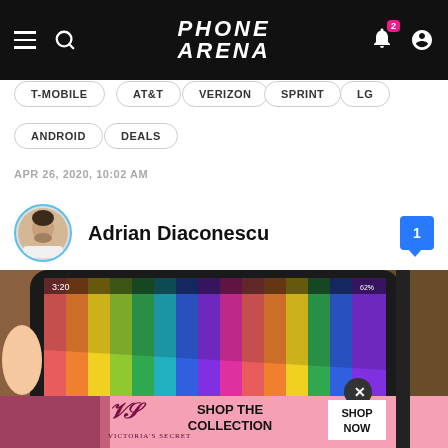PHONE ARENA
T-MOBILE
AT&T
VERIZON
SPRINT
LG
ANDROID
DEALS
APR 26, 2020, 10:02 AM
Adrian Diaconescu
[Figure (photo): A hand holding a smartphone displaying colorful pencils on screen, with a Victoria's Secret advertisement overlay at the bottom of the phone screen.]